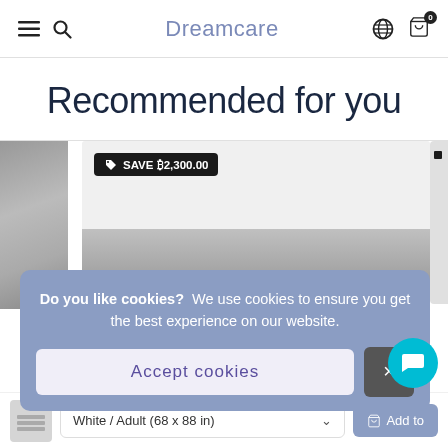Dreamcare
Recommended for you
[Figure (screenshot): Product card with SAVE ₿2,300.00 badge on light gray background, partially visible product image area]
Do you like cookies?  We use cookies to ensure you get the best experience on our website.
Accept cookies
White / Adult (68 x 88 in)
Add to